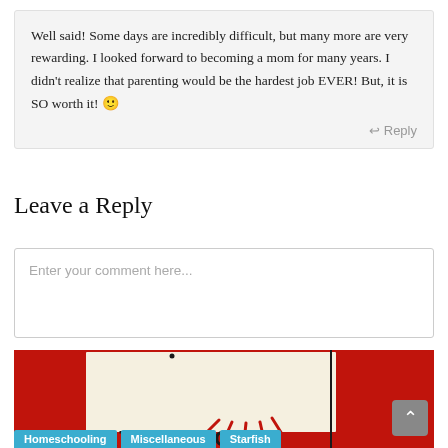Well said! Some days are incredibly difficult, but many more are very rewarding. I looked forward to becoming a mom for many years. I didn't realize that parenting would be the hardest job EVER! But, it is SO worth it! 🙂
↩ Reply
Leave a Reply
Enter your comment here...
[Figure (illustration): Red background with a white/cream paper card showing 'ATTENTION' text with radiating lines above it. A vertical black line appears on the right side of the card. Categories shown at the bottom: Homeschooling, Miscellaneous, Starfish.]